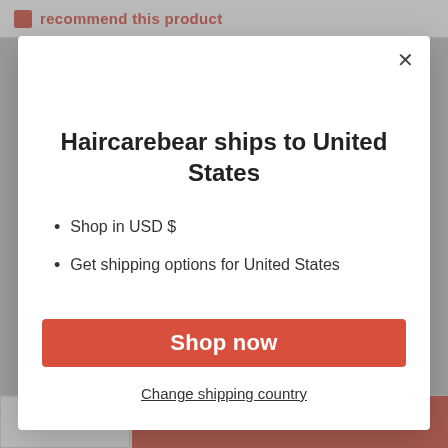Recommend this product
Haircarebear ships to United States
Shop in USD $
Get shipping options for United States
Shop now
Change shipping country
- 1 + ADD TO CART